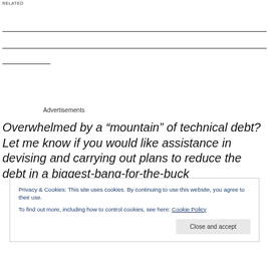RELATED
Advertisements
Overwhelmed by a “mountain” of technical debt? Let me know if you would like assistance in devising and carrying out plans to reduce the debt in a biggest-bang-for-the-buck
Privacy & Cookies: This site uses cookies. By continuing to use this website, you agree to their use.
To find out more, including how to control cookies, see here: Cookie Policy